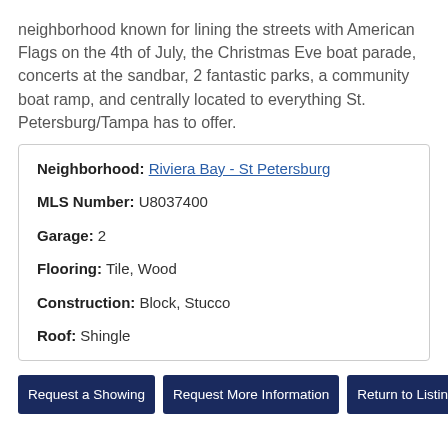neighborhood known for lining the streets with American Flags on the 4th of July, the Christmas Eve boat parade, concerts at the sandbar, 2 fantastic parks, a community boat ramp, and centrally located to everything St. Petersburg/Tampa has to offer.
| Neighborhood: | Riviera Bay - St Petersburg |
| MLS Number: | U8037400 |
| Garage: | 2 |
| Flooring: | Tile, Wood |
| Construction: | Block, Stucco |
| Roof: | Shingle |
Request a Showing
Request More Information
Return to Listings